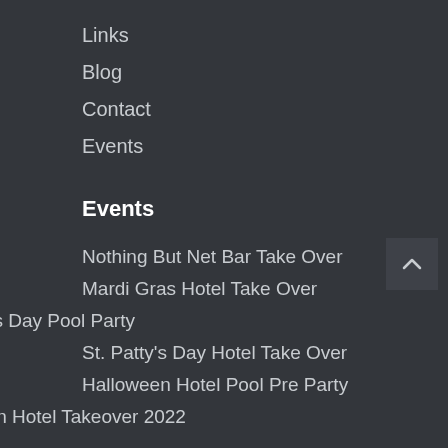Links
Blog
Contact
Events
Events
Nothing But Net Bar Take Over
Mardi Gras Hotel Take Over
St. Patty's Day Pool Party
St. Patty's Day Hotel Take Over
Halloween Hotel Pool Pre Party
Halloween Hotel Takeover 2022